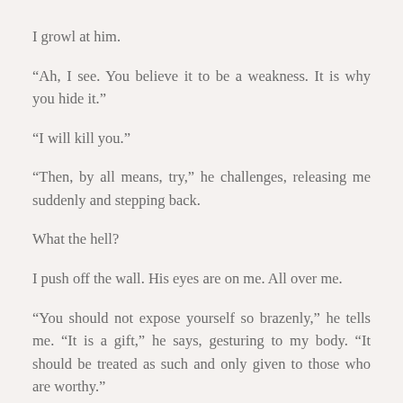I growl at him.
“Ah, I see. You believe it to be a weakness. It is why you hide it.”
“I will kill you.”
“Then, by all means, try,” he challenges, releasing me suddenly and stepping back.
What the hell?
I push off the wall. His eyes are on me. All over me.
“You should not expose yourself so brazenly,” he tells me. “It is a gift,” he says, gesturing to my body. “It should be treated as such and only given to those who are worthy.”
“Is that a come on?”